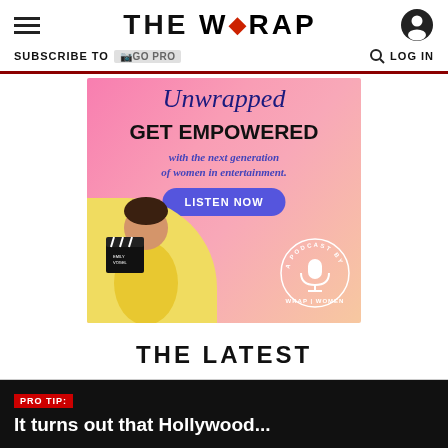THE WRAP
SUBSCRIBE TO GO PRO
LOG IN
[Figure (infographic): Unwrapped podcast advertisement: pink background, 'Unwrapped GET EMPOWERED with the next generation of women in entertainment. LISTEN NOW' with woman holding a clapperboard and a podcast badge by WRAP WOMEN]
THE LATEST
PRO TIP: It turns out that Hollywood...